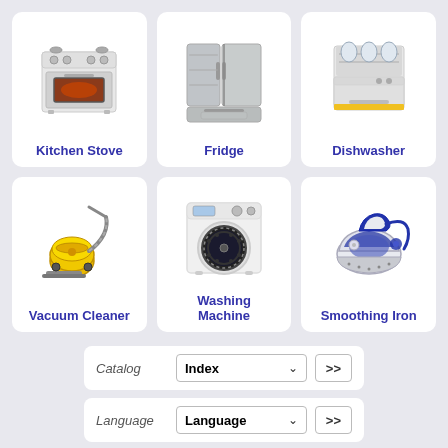[Figure (illustration): Kitchen Stove appliance image - white oven/stove with open door showing heating element]
Kitchen Stove
[Figure (illustration): Fridge appliance image - stainless steel french door refrigerator with bottom freezer]
Fridge
[Figure (illustration): Dishwasher appliance image - white built-in dishwasher with open top showing dishes]
Dishwasher
[Figure (illustration): Vacuum Cleaner appliance image - yellow canister vacuum with hose]
Vacuum Cleaner
[Figure (illustration): Washing Machine appliance image - white front-loading washing machine]
Washing Machine
[Figure (illustration): Smoothing Iron appliance image - blue and white steam iron/ironing station]
Smoothing Iron
Catalog  Index  >>
Language  Language  >>